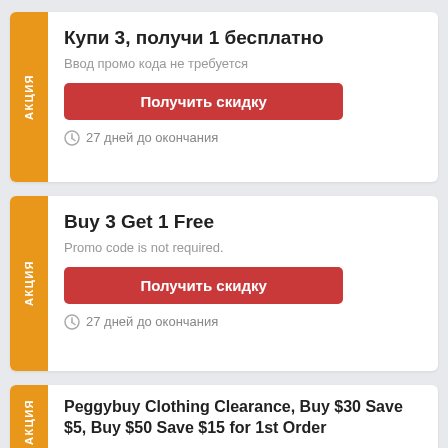Купи 3, получи 1 бесплатно
Ввод промо кода не требуется
Получить скидку
27 дней до окончания
Buy 3 Get 1 Free
Promo code is not required.
Получить скидку
27 дней до окончания
Peggybuy Clothing Clearance, Buy $30 Save $5, Buy $50 Save $15 for 1st Order